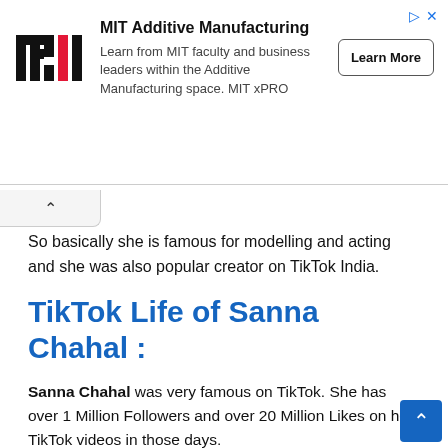[Figure (other): MIT xPRO advertisement banner with MIT logo, 'MIT Additive Manufacturing' heading, description text, and 'Learn More' button]
So basically she is famous for modelling and acting and she was also popular creator on TikTok India.
TikTok Life of Sanna Chahal :
Sanna Chahal was very famous on TikTok. She has over 1 Million Followers and over 20 Million Likes on her TikTok videos in those days.
But TikTok was banned in india.
So after tiktok banned in India, she completely focus on Insta to grow her fan followers, so she make her reels videos on dai basis like short lipsync videos and modelling videos...